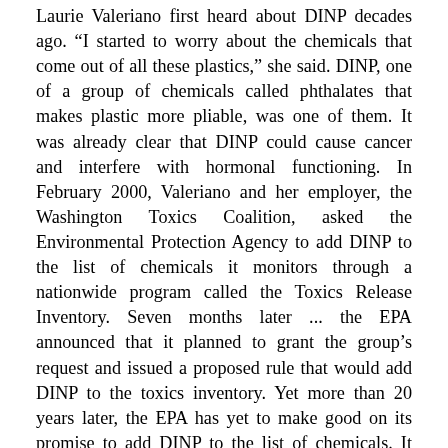Laurie Valeriano first heard about DINP decades ago. "I started to worry about the chemicals that come out of all these plastics," she said. DINP, one of a group of chemicals called phthalates that makes plastic more pliable, was one of them. It was already clear that DINP could cause cancer and interfere with hormonal functioning. In February 2000, Valeriano and her employer, the Washington Toxics Coalition, asked the Environmental Protection Agency to add DINP to the list of chemicals it monitors through a nationwide program called the Toxics Release Inventory. Seven months later ... the EPA announced that it planned to grant the group's request and issued a proposed rule that would add DINP to the toxics inventory. Yet more than 20 years later, the EPA has yet to make good on its promise to add DINP to the list of chemicals. It never finalized the rule. Companies have continued to churn out DINP ... in astounding amounts without disclosing how much individual plants make and emit. In addition to the cancer and hormone disruption that sparked Valeriano's claim 21 years ago, we now know more about how DINP affects the sexual development of children. It decreases sperm motility, increases malformations of the testes and other organs, and makes boys ... more likely to be infertile later in life. In